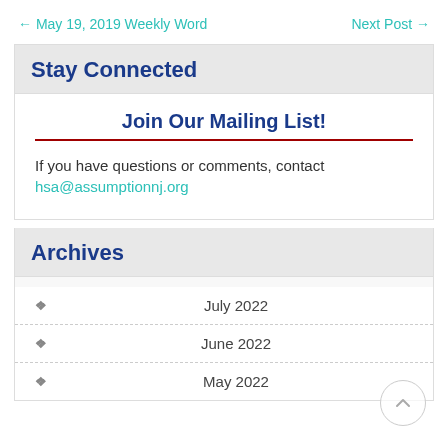← May 19, 2019 Weekly Word    Next Post →
Stay Connected
Join Our Mailing List!
If you have questions or comments, contact hsa@assumptionnj.org
Archives
July 2022
June 2022
May 2022